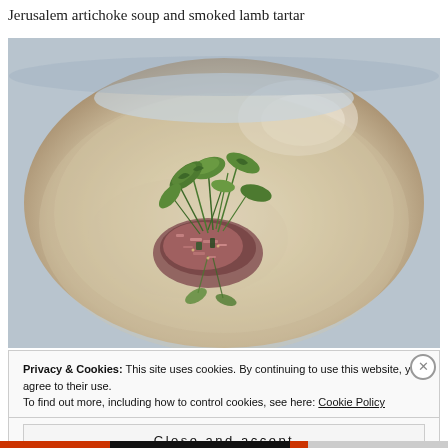Jerusalem artichoke soup and smoked lamb tartar
[Figure (photo): A white shallow bowl containing a creamy pale Jerusalem artichoke soup with a mound of smoked lamb tartare garnished with fresh green arugula microgreens in the center.]
Privacy & Cookies: This site uses cookies. By continuing to use this website, you agree to their use.
To find out more, including how to control cookies, see here: Cookie Policy
Close and accept